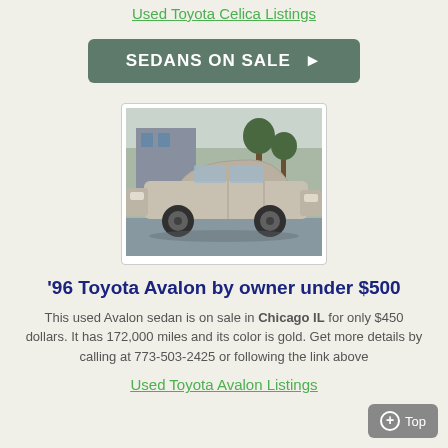Used Toyota Celica Listings
SEDANS ON SALE ▶
[Figure (photo): Photo of a gold/silver 1996 Toyota Avalon sedan parked on a street with trees in background]
'96 Toyota Avalon by owner under $500
This used Avalon sedan is on sale in Chicago IL for only $450 dollars. It has 172,000 miles and its color is gold. Get more details by calling at 773-503-2425 or following the link above
Used Toyota Avalon Listings
⊕ Top